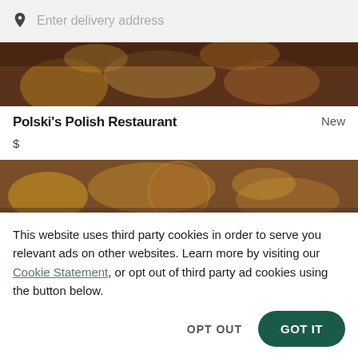[Figure (screenshot): Search bar with location pin icon and placeholder text 'Enter delivery address']
[Figure (photo): Food photo strip showing Polish dishes, top portion]
Polski's Polish Restaurant
New
$
[Figure (photo): Food photo strip showing Polish dishes, bottom portion]
This website uses third party cookies in order to serve you relevant ads on other websites. Learn more by visiting our Cookie Statement, or opt out of third party ad cookies using the button below.
OPT OUT
GOT IT